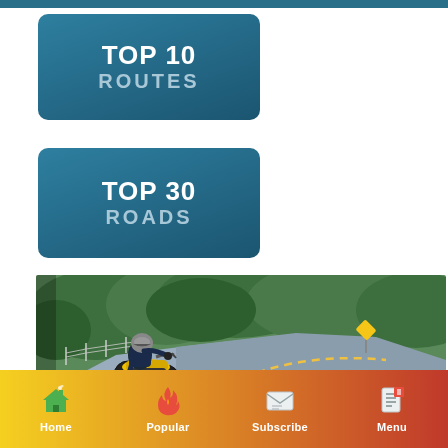[Figure (screenshot): TOP 10 ROUTES button — dark teal rounded rectangle with white bold 'TOP 10' and grey 'ROUTES' text]
[Figure (screenshot): TOP 30 ROADS button — dark teal rounded rectangle with white bold 'TOP 30' and grey 'ROADS' text]
[Figure (photo): Motorcyclist riding a yellow motorcycle on a winding two-lane road through green trees]
[Figure (screenshot): Bottom navigation bar with yellow-to-red gradient, icons and labels: Home, Popular, Subscribe, Menu]